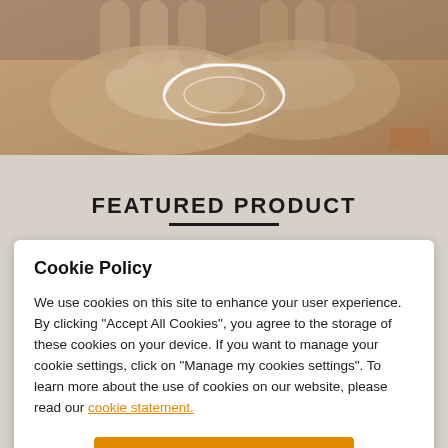[Figure (photo): Close-up photo of gloved hands performing a medical or therapeutic procedure, with glowing loop/wire graphics overlay on a warm beige/tan background]
FEATURED PRODUCT
Cookie Policy
We use cookies on this site to enhance your user experience. By clicking "Accept All Cookies", you agree to the storage of these cookies on your device. If you want to manage your cookie settings, click on "Manage my cookies settings". To learn more about the use of cookies on our website, please read our cookie statement.
Accept all cookies